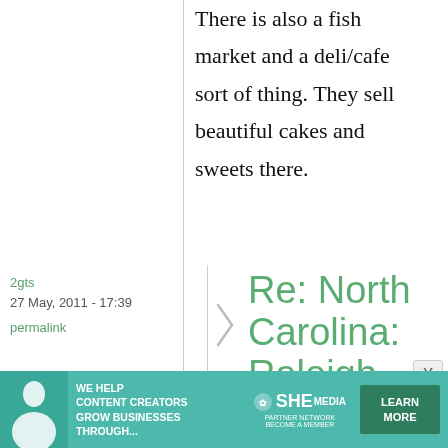There is also a fish market and a deli/cafe sort of thing. They sell beautiful cakes and sweets there.
2gts
27 May, 2011 - 17:39
permalink
Re: North Carolina: Raleigh
[Figure (infographic): Advertisement banner for SHE Media Partner Network with text: WE HELP CONTENT CREATORS GROW BUSINESSES THROUGH... and LEARN MORE button]